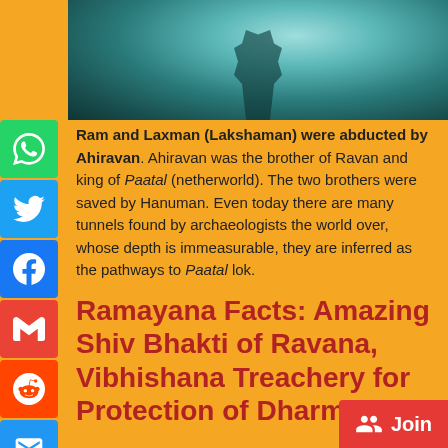[Figure (photo): Teal/cyan-colored artistic image, appears to be a silhouette figure in a misty/atmospheric background]
Ram and Laxman (Lakshaman) were abducted by Ahiravan. Ahiravan was the brother of Ravan and king of Paatal (netherworld). The two brothers were saved by Hanuman. Even today there are many tunnels found by archaeologists the world over, whose depth is immeasurable, they are inferred as the pathways to Paatal lok.
Ramayana Facts: Amazing Shiv Bhakti of Ravana, Vibhishana Treachery for Protection of Dharma